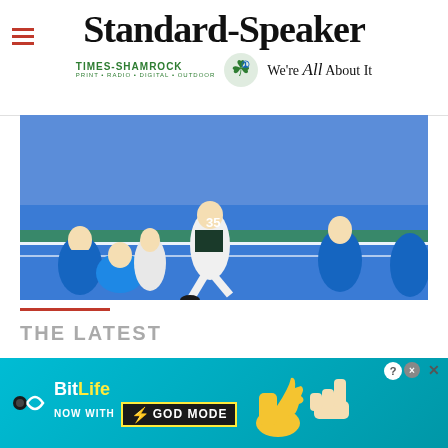Standard-Speaker
[Figure (logo): Times-Shamrock logo with shamrock icon and tagline 'We're All About It']
[Figure (photo): NFL football game action photo showing players in blue (Lions) and white/dark green (Eagles) uniforms on a blue turf end zone]
THE LATEST
Clifford's masterful final drive sends Penn
[Figure (screenshot): BitLife advertisement banner: 'NOW WITH GOD MODE' on a teal/blue background with cartoon thumbs-up and pointing hand graphics]